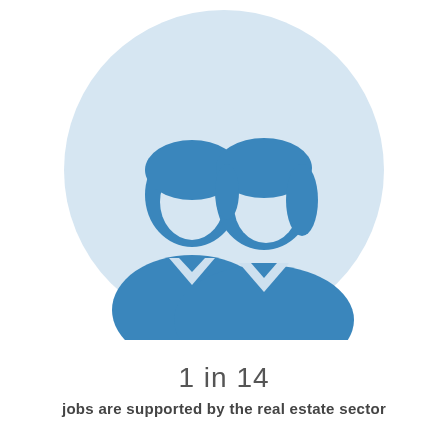[Figure (infographic): Two business people silhouettes (man and woman) icon in blue on a light blue circular background, representing employment in the real estate sector.]
1 in 14
jobs are supported by the real estate sector